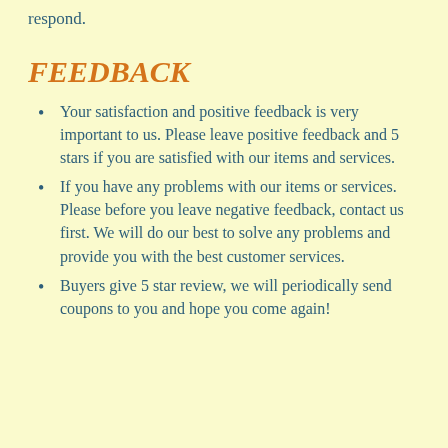respond.
FEEDBACK
Your satisfaction and positive feedback is very important to us. Please leave positive feedback and 5 stars if you are satisfied with our items and services.
If you have any problems with our items or services. Please before you leave negative feedback, contact us first. We will do our best to solve any problems and provide you with the best customer services.
Buyers give 5 star review, we will periodically send coupons to you and hope you come again!